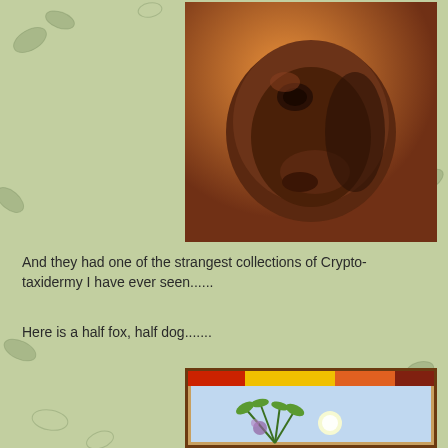[Figure (photo): Close-up photograph of a taxidermy animal head with dark reddish-brown fur, possibly a cryptotaxidermy piece, with visible eye socket and snout features, lit with warm orange light]
And they had one of the strangest collections of Crypto-taxidermy I have ever seen......
Here is a half fox, half dog.......
[Figure (photo): Photograph of a wooden framed display case with colorful background (red, yellow, orange panels), containing what appears to be a cryptotaxidermy specimen with plants/ferns and a light bulb inside]